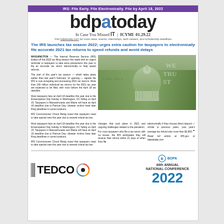IRS: File Early. File Electronically. File by April 18, 2022
bdpatoday
In Case You Missed IT | ICYMI 01.29.22
Visit bdpatoday.com for more news, events, internships, tech careers, and scholarship deadlines
The IRS launches tax season 2022; urges extra caution for taxpayers to electronically file accurate 2021 tax returns to speed refunds and avoid delays
WASHINGTON — The Internal Revenue Service (IRS) kicked off the 2022 tax filing season this week with an urgent reminder to taxpayers to take extra precautions this year to file an accurate tax return electronically to help speed refunds.
The start of this year's tax season — which takes place earlier than last year's February 12 opening — signals the IRS is now accepting and processing 2021 tax returns. More than 160 million individual tax returns for the 2021 tax year are expected to be filed, with most before the April 18 tax deadline.
Most taxpayers face an April 18 deadline this year due to the Emancipation Day holiday in Washington, DC falling on April 15. Taxpayers in Massachusetts and Maine will have an April 19 deadline due to Patriots Day; disaster victims have later filing deadlines in some locations.
IRS Commissioner Chuck Rettig noted that taxpayers need to take special care this year due to several critical tax law
[Figure (photo): Photo of US Capitol building with IN GOD WE TRUST text overlay on a dollar bill background]
changes that took place in 2021 and ongoing challenges related to the pandemic.
For most taxpayers who file a tax return with no issues, the IRS anticipates they will receive their refund within 21 days of when they file
electronically if they choose direct deposit — similar to previous years. Last year's average tax refund was more than $2,800.
Read full article at IRS.gov or bdpatoday.com
[Figure (logo): TEDCO logo with orbital ring graphic]
[Figure (logo): BDPA 44th Annual National Conference 2022 logo]